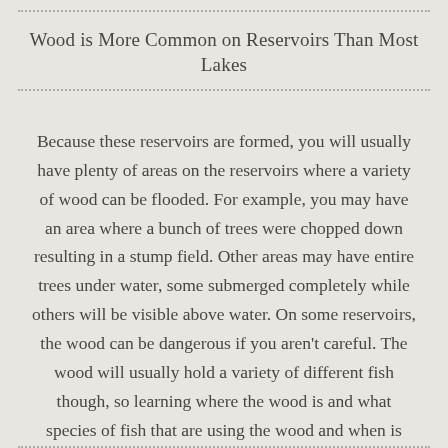Wood is More Common on Reservoirs Than Most Lakes
Because these reservoirs are formed, you will usually have plenty of areas on the reservoirs where a variety of wood can be flooded.  For example, you may have an area where a bunch of trees were chopped down resulting in a stump field.  Other areas may have entire trees under water, some submerged completely while others will be visible above water.  On some reservoirs, the wood can be dangerous if you aren't careful.  The wood will usually hold a variety of different fish though, so learning where the wood is and what species of fish that are using the wood and when is key to having more success on most reservoirs.